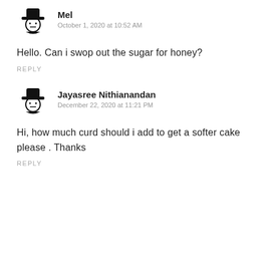Mel
October 1, 2020 at 10:52 AM
Hello. Can i swop out the sugar for honey?
REPLY
Jayasree Nithianandan
December 22, 2020 at 11:21 PM
Hi, how much curd should i add to get a softer cake please . Thanks
REPLY